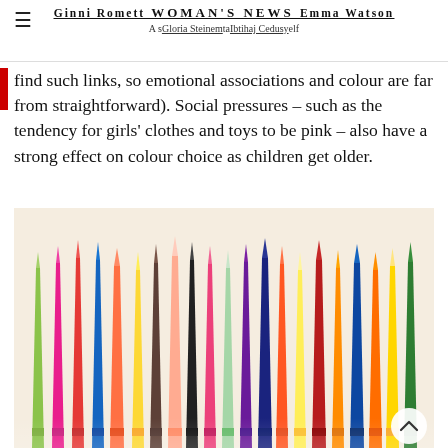Ginni Rometti  WOMAN'S NEWS  Emma Watson
A strong woman stands up for herself
Gloria Steinem  Malala Yousafzai  Ibtihaj Muhammad
find such links, so emotional associations and colour are far from straightforward). Social pressures – such as the tendency for girls' clothes and toys to be pink – also have a strong effect on colour choice as children get older.
[Figure (photo): Close-up photo of many colorful wax crayons of various colors including green, red, blue, orange, yellow, pink, brown, and purple, standing upright with their tips pointing upward.]